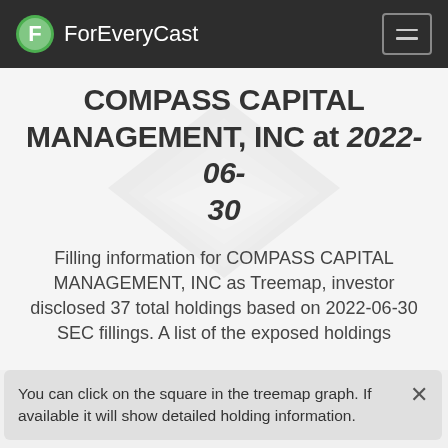ForEveryCast
COMPASS CAPITAL MANAGEMENT, INC at 2022-06-30
Filling information for COMPASS CAPITAL MANAGEMENT, INC as Treemap, investor disclosed 37 total holdings based on 2022-06-30 SEC fillings. A list of the exposed holdings
You can click on the square in the treemap graph. If available it will show detailed holding information.